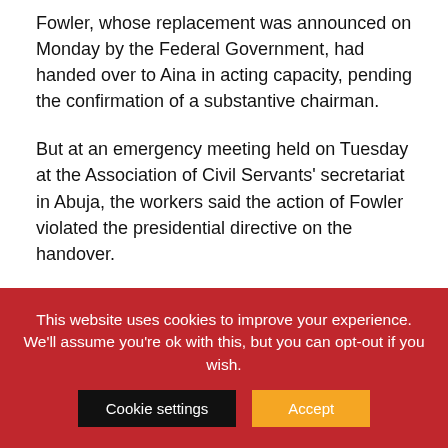Fowler, whose replacement was announced on Monday by the Federal Government, had handed over to Aina in acting capacity, pending the confirmation of a substantive chairman.
But at an emergency meeting held on Tuesday at the Association of Civil Servants' secretariat in Abuja, the workers said the action of Fowler violated the presidential directive on the handover.
Specifically, the union in a communiqué issued at the end of the meeting said Aina could not be regarded as the most senior director in the FIRS.
This website uses cookies to improve your experience. We'll assume you're ok with this, but you can opt-out if you wish. Cookie settings  Accept